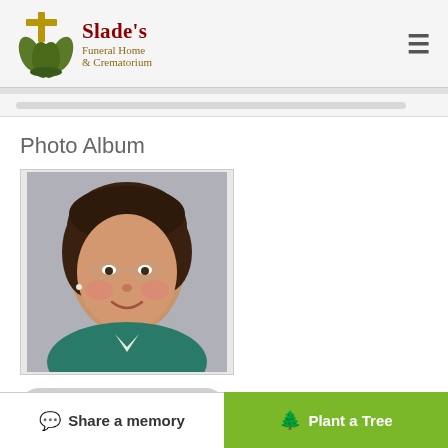Slade's Funeral Home & Crematorium
Photo Album
[Figure (photo): Portrait photo of an elderly woman with short dark hair, wearing glasses and a teal/green jacket, smiling at the camera.]
Add Photos
Share a memory   Plant a Tree